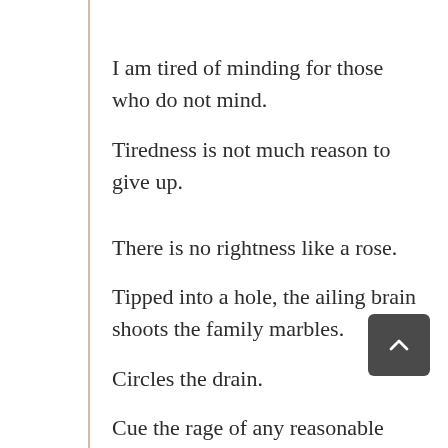I am tired of minding for those who do not mind.
Tiredness is not much reason to give up.
There is no rightness like a rose.
Tipped into a hole, the ailing brain shoots the family marbles.
Circles the drain.
Cue the rage of any reasonable person